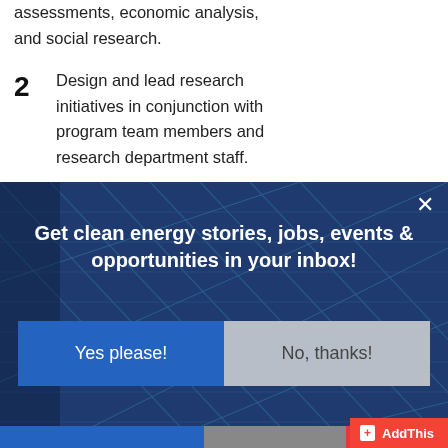assessments, economic analysis, and social research.
2 Design and lead research initiatives in conjunction with program team members and research department staff.
[Figure (screenshot): Modal popup overlay with solar panel background image showing newsletter signup prompt with two buttons: 'Yes please!' (blue) and 'No, thanks!' (gray), and a close button (X) in the top right. An AddThis share button is visible in the bottom right corner.]
Get clean energy stories, jobs, events & opportunities in your inbox!
Yes please!
No, thanks!
+ AddThis